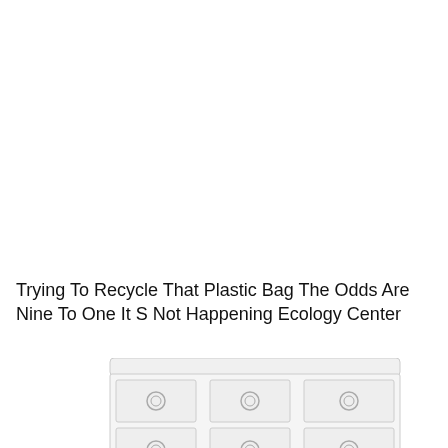Trying To Recycle That Plastic Bag The Odds Are Nine To One It S Not Happening Ecology Center
[Figure (illustration): A partially cropped illustration of a white dresser/drawer unit with circular knobs visible on multiple drawers, shown from a low angle at the bottom of the page.]